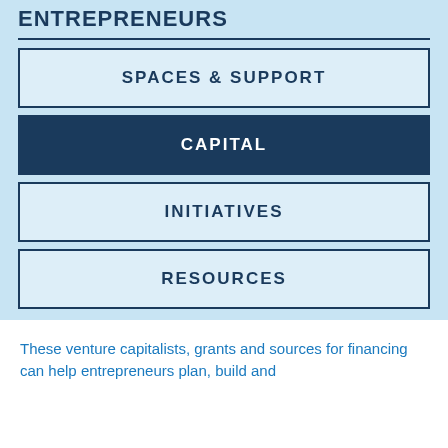ENTREPRENEURS
SPACES & SUPPORT
CAPITAL
INITIATIVES
RESOURCES
These venture capitalists, grants and sources for financing can help entrepreneurs plan, build and